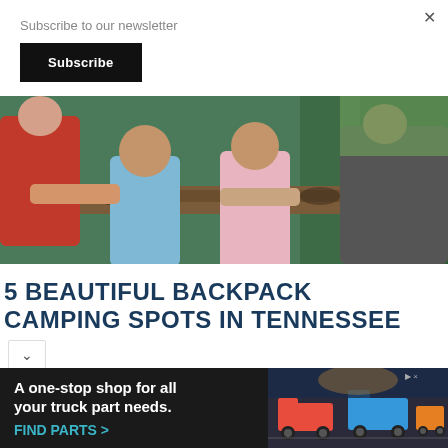Subscribe to our newsletter
Subscribe
[Figure (photo): Family group with adults and children sitting on a wooden fence outdoors, wearing backpacks and casual clothing, with green trees in background]
5 BEAUTIFUL BACKPACK CAMPING SPOTS IN TENNESSEE
A one-stop shop for all your truck part needs. FIND PARTS >